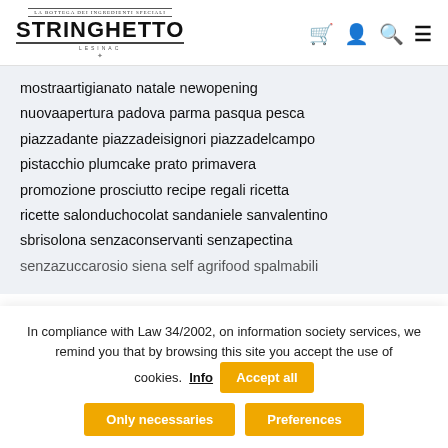[Figure (logo): Stringhetto logo with decorative text border, main text STRINGHETTO in bold, and subtitle LESINAC]
mostraartigianato natale newopening nuovaapertura padova parma pasqua pesca piazzadante piazzadeisignori piazzadelcampo pistacchio plumcake prato primavera promozione prosciutto recipe regali ricetta ricette salonduchocolat sandaniele sanvalentino sbrisolona senzaconservanti senzapectina senzazuccarosio siena self agrifood spalmabili
In compliance with Law 34/2002, on information society services, we remind you that by browsing this site you accept the use of cookies. Info Accept all Only necessaries Preferences